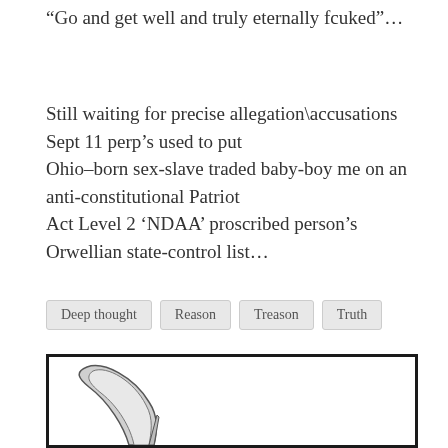“Go and get well and truly eternally fcuked”…
Still waiting for precise allegation\accusations Sept 11 perp’s used to put
Ohio–born sex-slave traded baby-boy me on an anti-constitutional Patriot
Act Level 2 ‘NDAA’ proscribed person’s Orwellian state-control list…
Deep thought
Reason
Treason
Truth
[Figure (illustration): Partial illustration showing the blade of a scythe with a curved handle, drawn in a simple line-art style with grey shading, visible at the bottom of the page within a thick black border frame.]